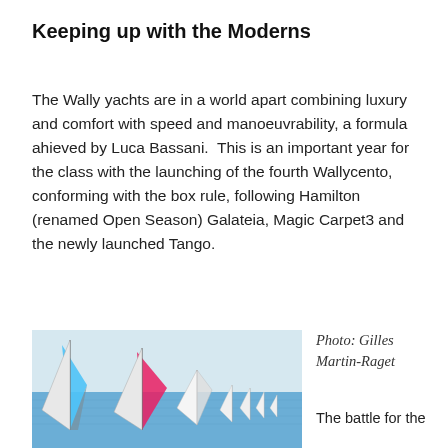Keeping up with the Moderns
The Wally yachts are in a world apart combining luxury and comfort with speed and manoeuvrability, a formula ahieved by Luca Bassani.  This is an important year for the class with the launching of the fourth Wallycento, conforming with the box rule, following Hamilton (renamed Open Season) Galateia, Magic Carpet3 and the newly launched Tango.
[Figure (photo): Racing yachts with colourful spinnaker sails on the water, photographed by Gilles Martin-Raget]
Photo: Gilles Martin-Raget
The battle for the